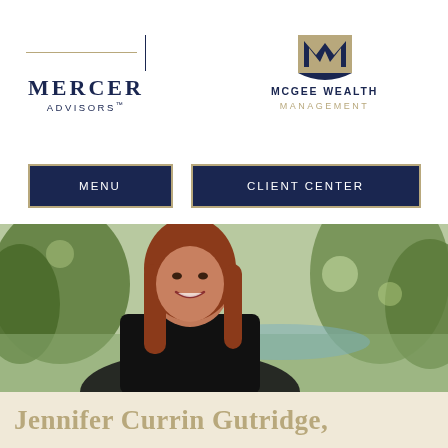[Figure (logo): Mercer Advisors logo with dark navy wordmark and thin gold horizontal rule]
[Figure (logo): McGee Wealth Management logo with stylized gold and navy M icon]
MENU
CLIENT CENTER
[Figure (photo): Professional headshot of a woman with long red hair smiling outdoors in a park setting]
Jennifer Currin Gutridge,